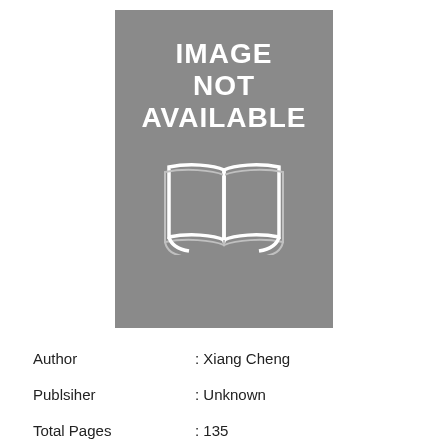[Figure (illustration): Book cover placeholder image with grey background, text 'IMAGE NOT AVAILABLE' in white bold letters, and a white open book icon below the text.]
| Author | : Xiang Cheng |
| Publsiher | : Unknown |
| Total Pages | : 135 |
| Release | : 2018 |